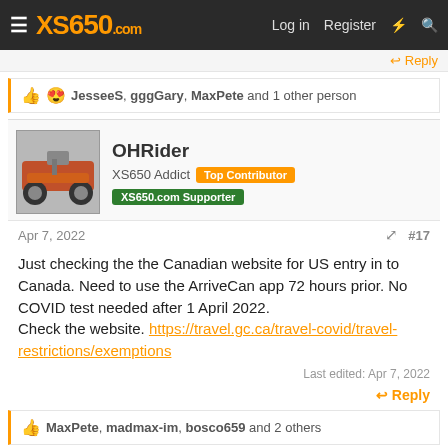XS650.com — Log in   Register
Reply
👍 😍 JesseeS, gggGary, MaxPete and 1 other person
OHRider
XS650 Addict   Top Contributor   XS650.com Supporter
Apr 7, 2022   #17
Just checking the the Canadian website for US entry in to Canada. Need to use the ArriveCan app 72 hours prior. No COVID test needed after 1 April 2022.
Check the website. https://travel.gc.ca/travel-covid/travel-restrictions/exemptions
Last edited: Apr 7, 2022
Reply
👍 MaxPete, madmax-im, bosco659 and 2 others